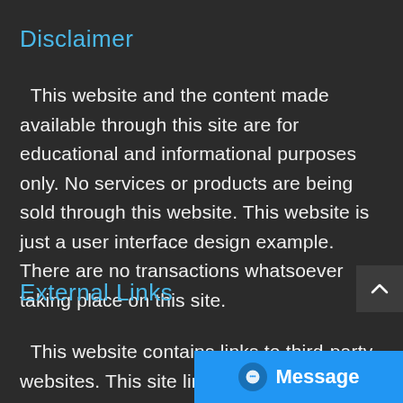Disclaimer
This website and the content made available through this site are for educational and informational purposes only. No services or products are being sold through this website. This website is just a user interface design example. There are no transactions whatsoever taking place on this site.
External Links
This website contains links to third-party websites. This site links to external services or product offers. We only affili... services, and merchants that...